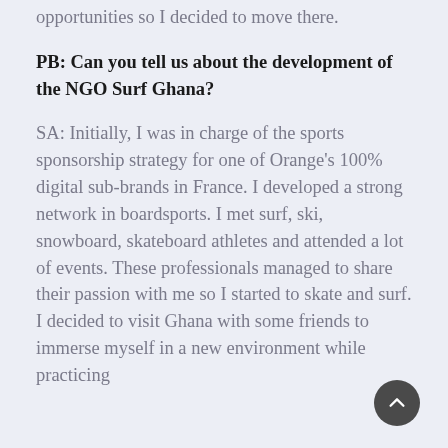opportunities so I decided to move there.
PB: Can you tell us about the development of the NGO Surf Ghana?
SA: Initially, I was in charge of the sports sponsorship strategy for one of Orange's 100% digital sub-brands in France. I developed a strong network in boardsports. I met surf, ski, snowboard, skateboard athletes and attended a lot of events. These professionals managed to share their passion with me so I started to skate and surf. I decided to visit Ghana with some friends to immerse myself in a new environment while practicing